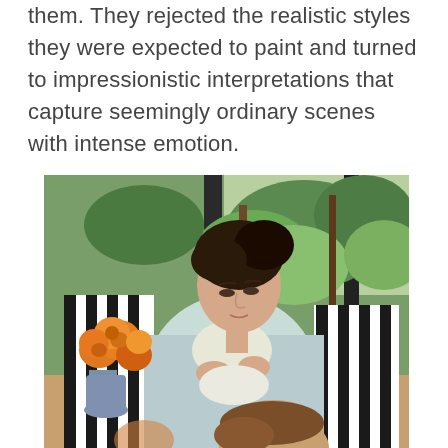them. They rejected the realistic styles they were expected to paint and turned to impressionistic interpretations that capture seemingly ordinary scenes with intense emotion.
[Figure (illustration): An impressionist painting depicting a woman seated in a striped chair, looking downward while sewing or threading, with a child's head visible at the bottom. An orange flower arrangement in a vase is visible to the left, and a green garden scene with trees is visible through a window in the background.]